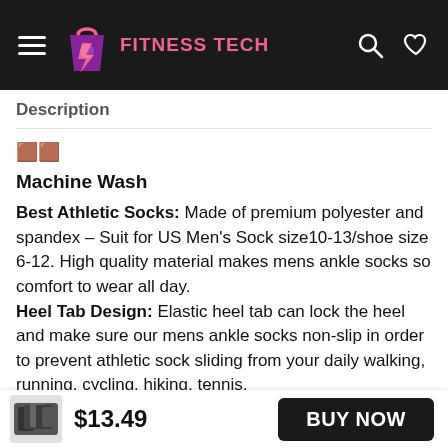[Figure (logo): Fitness Tech logo with pink shopping bag icon and brand name in pink text on dark header]
Description
🟫🟫
Machine Wash
Best Athletic Socks: Made of premium polyester and spandex – Suit for US Men's Sock size10-13/shoe size 6-12. High quality material makes mens ankle socks so comfort to wear all day. Heel Tab Design: Elastic heel tab can lock the heel and make sure our mens ankle socks non-slip in order to prevent athletic sock sliding from your daily walking, running, cycling, hiking, tennis.
[Figure (photo): Product thumbnail image of black athletic socks bundle]
$13.49
BUY NOW